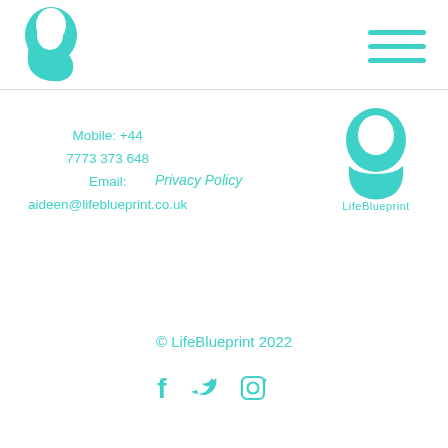[Figure (logo): LifeBlueprint teal head silhouette logo in header]
[Figure (other): Hamburger menu icon (three teal horizontal lines)]
Mobile: +44 7773 373 648 Email: aideen@lifeblueprint.co.uk
Privacy Policy
[Figure (logo): LifeBlueprint teal head silhouette logo with LifeBlueprint text]
© LifeBlueprint 2022
[Figure (other): Social media icons: Facebook, Twitter, Instagram]